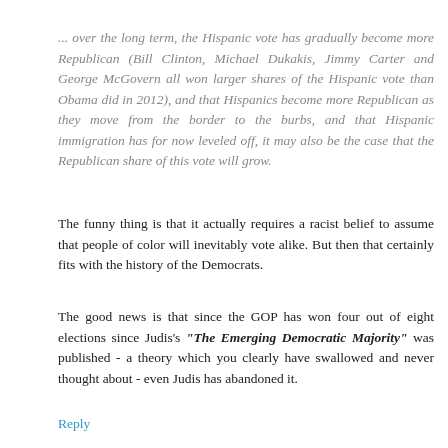... over the long term, the Hispanic vote has gradually become more Republican (Bill Clinton, Michael Dukakis, Jimmy Carter and George McGovern all won larger shares of the Hispanic vote than Obama did in 2012), and that Hispanics become more Republican as they move from the border to the burbs, and that Hispanic immigration has for now leveled off, it may also be the case that the Republican share of this vote will grow.
The funny thing is that it actually requires a racist belief to assume that people of color will inevitably vote alike. But then that certainly fits with the history of the Democrats.
The good news is that since the GOP has won four out of eight elections since Judis's "The Emerging Democratic Majority" was published - a theory which you clearly have swallowed and never thought about - even Judis has abandoned it.
Reply